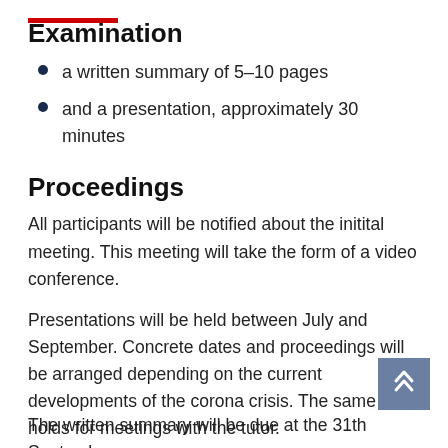Examination
a written summary of 5–10 pages
and a presentation, approximately 30 minutes
Proceedings
All participants will be notified about the initital meeting. This meeting will take the form of a video conference.
Presentations will be held between July and September. Concrete dates and proceedings will be arranged depending on the current developments of the corona crisis. The same holds for meetings with the tutor.
The written summary will be due at the 31th September